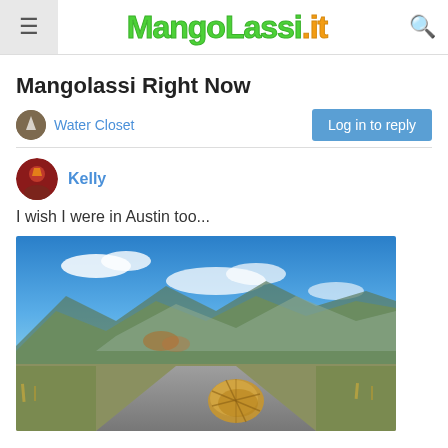MangoLassi.it
Mangolassi Right Now
Water Closet
Log in to reply
Kelly
I wish I were in Austin too...
[Figure (photo): A tumbleweed rolling across a desert highway with mountains and blue sky in the background.]